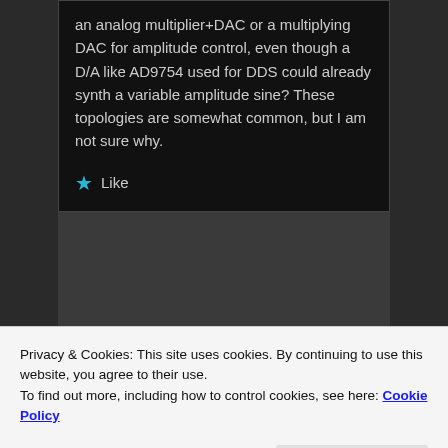an analog multiplier+DAC or a multiplying DAC for amplitude control, even though a D/A like AD9754 used for DDS could already synth a variable amplitude sine? These topologies are somewhat common, but I am not sure why.
★ Like
John Alexander
Privacy & Cookies: This site uses cookies. By continuing to use this website, you agree to their use. To find out more, including how to control cookies, see here: Cookie Policy
Close and accept
As far as sample rate I like to have